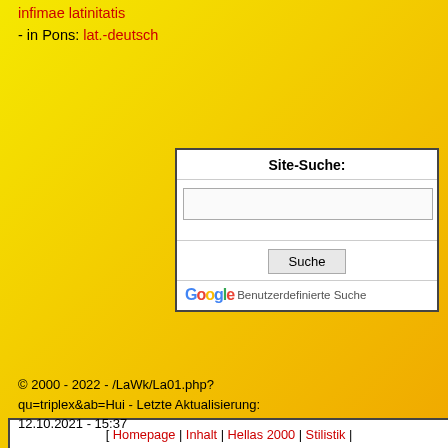infimae latinitatis
- in Pons: lat.-deutsch
| Site-Suche: |
| --- |
| [search input] |
| Suche |
| Google Benutzerdefinierte Suche |
[ Homepage | Inhalt | Hellas 2000 | Stilistik | Latein | Lateinisches Wörterbuch | Lateinischer Sprachkurs | Lateinische Grammatik | Lat.Textstellen | Römische Geschichte | Griechisch | Griechisches Wörterbuch | Griechischer Sprachkurs | Griechische Grammatik | Griech.Textstellen | Griechische Geschichte | Landkarten | Beta-Converter | Varia | Mythologie | Bibliographie | Ethik | Links | Literaturabfrage ]
© 2000 - 2022 - /LaWk/La01.php?qu=triplex&ab=Hui - Letzte Aktualisierung: 12.10.2021 - 15:37